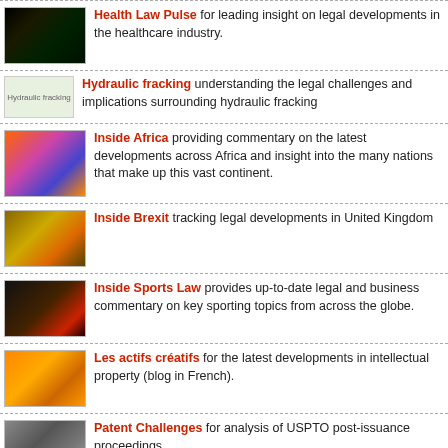Health Law Pulse for leading insight on legal developments in the healthcare industry.
Hydraulic fracking understanding the legal challenges and implications surrounding hydraulic fracking
Inside Africa providing commentary on the latest developments across Africa and insight into the many nations that make up this vast continent.
Inside Brexit tracking legal developments in United Kingdom
Inside Sports Law provides up-to-date legal and business commentary on key sporting topics from across the globe.
Les actifs créatifs for the latest developments in intellectual property (blog in French).
Patent Challenges for analysis of USPTO post-issuance proceedings
Pharma in brief legal and regulatory developments affecting the pharmaceutical industry.
Project finance news for developments affecting project finance and the energy sector.
Securities litigation and enforcement for domestic developments in securities litigation in both Canada and the United States.
Social media law bulletin for the legal implications of social media.